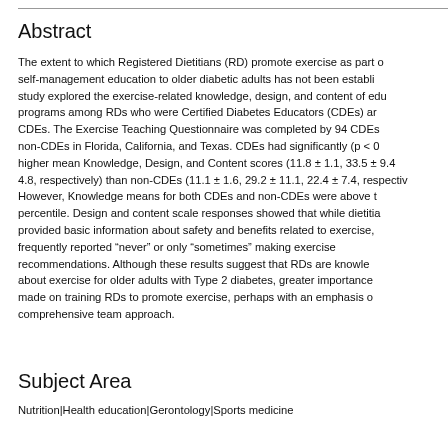Abstract
The extent to which Registered Dietitians (RD) promote exercise as part of self-management education to older diabetic adults has not been established. This study explored the exercise-related knowledge, design, and content of educational programs among RDs who were Certified Diabetes Educators (CDEs) and non-CDEs. The Exercise Teaching Questionnaire was completed by 94 CDEs and non-CDEs in Florida, California, and Texas. CDEs had significantly (p < 0.05) higher mean Knowledge, Design, and Content scores (11.8 ± 1.1, 33.5 ± 9.4, 4.8, respectively) than non-CDEs (11.1 ± 1.6, 29.2 ± 11.1, 22.4 ± 7.4, respectively). However, Knowledge means for both CDEs and non-CDEs were above the percentile. Design and content scale responses showed that while dietitians provided basic information about safety and benefits related to exercise, they frequently reported “never” or only “sometimes” making exercise recommendations. Although these results suggest that RDs are knowledgeable about exercise for older adults with Type 2 diabetes, greater importance should be made on training RDs to promote exercise, perhaps with an emphasis on a comprehensive team approach.
Subject Area
Nutrition|Health education|Gerontology|Sports medicine